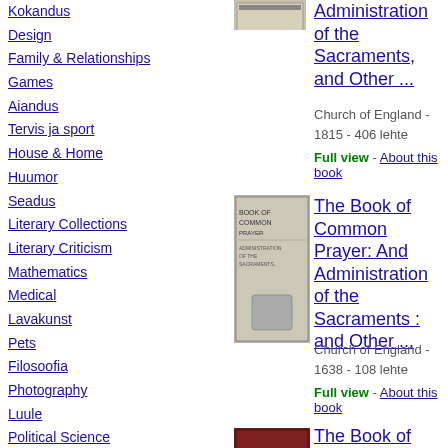Kokandus
Design
Family & Relationships
Games
Aiandus
Tervis ja sport
House & Home
Huumor
Seadus
Literary Collections
Literary Criticism
Mathematics
Medical
Lavakunst
Pets
Filosoofia
Photography
Luule
Political Science
Psühholoogia
Religioon
Eneseabi
[Figure (photo): Book cover of The Book of Common Prayer (first entry, partial)]
Administration of the Sacraments, and Other ...
Church of England - 1815 - 406 lehte
Full view - About this book
[Figure (photo): Book cover of The Book of Common Prayer (1638 edition)]
The Book of Common Prayer: And Administration of the Sacraments : and Other ...
Church of England - 1638 - 108 lehte
Full view - About this book
[Figure (photo): Book cover of The Book of Common Prayer (third entry, dark red)]
The Book of Common Prayer: And